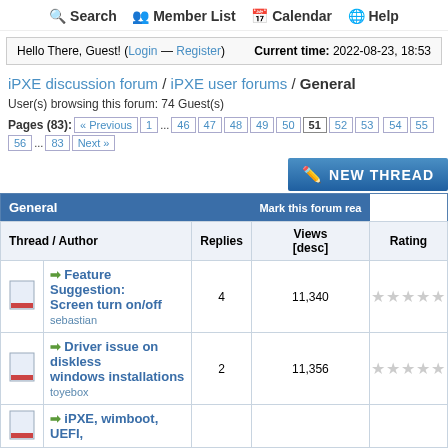Search  Member List  Calendar  Help
Hello There, Guest! (Login — Register)  Current time: 2022-08-23, 18:53
iPXE discussion forum / iPXE user forums / General
User(s) browsing this forum: 74 Guest(s)
Pages (83): « Previous  1  ...  46  47  48  49  50  51  52  53  54  55  56  ...  83  Next »
| Thread / Author | Replies | Views [desc] | Rating |
| --- | --- | --- | --- |
| ➡ Feature Suggestion: Screen turn on/off
sebastian | 4 | 11,340 | ☆☆☆☆☆ |
| ➡ Driver issue on diskless windows installations
toyebox | 2 | 11,356 | ☆☆☆☆☆ |
| ➡ iPXE, wimboot, UEFI, |  |  |  |